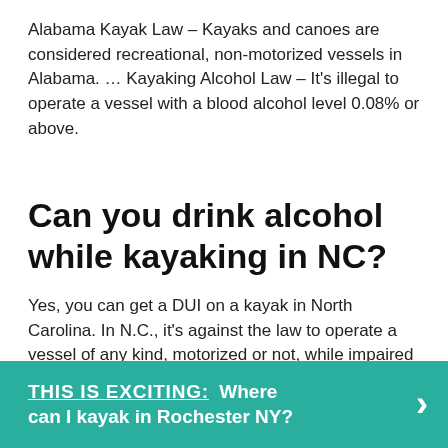Alabama Kayak Law – Kayaks and canoes are considered recreational, non-motorized vessels in Alabama. … Kayaking Alcohol Law – It's illegal to operate a vessel with a blood alcohol level 0.08% or above.
Can you drink alcohol while kayaking in NC?
Yes, you can get a DUI on a kayak in North Carolina. In N.C., it's against the law to operate a vessel of any kind, motorized or not, while impaired by alcohol and/or drugs.
THIS IS EXCITING: Where can I kayak in Rochester NY?